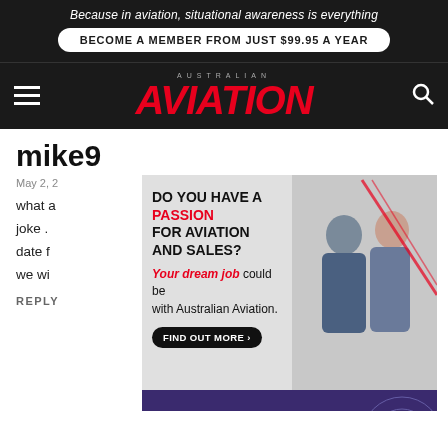Because in aviation, situational awareness is everything
BECOME A MEMBER FROM JUST $99.95 A YEAR
[Figure (logo): Australian Aviation logo with red italic AVIATION text and hamburger menu and search icon]
mike9
May 2, 2...
what a... ing a joke . ... rt date f... we wi...
[Figure (infographic): Advertisement: DO YOU HAVE A PASSION FOR AVIATION AND SALES? Your dream job could be with Australian Aviation. FIND OUT MORE button. Australian Aviation logo in corner. Photo of two professionals talking.]
[Figure (infographic): QinetiQ advertisement: Enabling critical UAS technologies with purple background and drone imagery]
REPLY